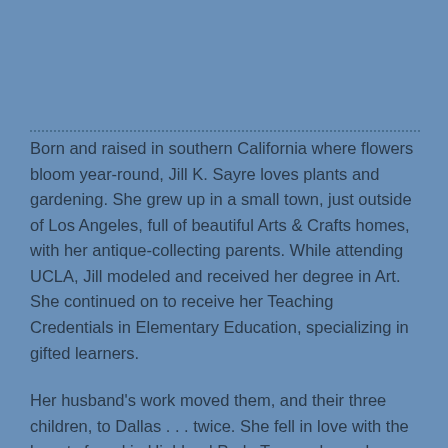Born and raised in southern California where flowers bloom year-round, Jill K. Sayre loves plants and gardening. She grew up in a small town, just outside of Los Angeles, full of beautiful Arts & Crafts homes, with her antique-collecting parents. While attending UCLA, Jill modeled and received her degree in Art. She continued on to receive her Teaching Credentials in Elementary Education, specializing in gifted learners.
Her husband's work moved them, and their three children, to Dallas . . . twice. She fell in love with the beauty found in Highland Park, Texas where she resides today. Her first book, The Fairies of Turtle Creek, is woven with the things she loves, like nature, science, art, folklore, and the early